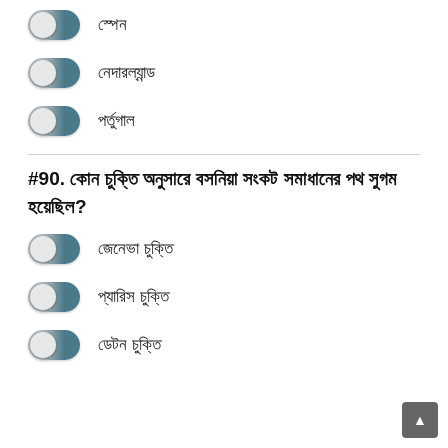স্পেন
নেদারল্যান্ড
পর্তুগাল
#90. কোন চুক্তি অনুসারে বসনিয়া সংকট সমাধানের পথ সুগম হয়েছিল?
জেনেভা চুক্তি
প্যারিস চুক্তি
ডেটন চুক্তি